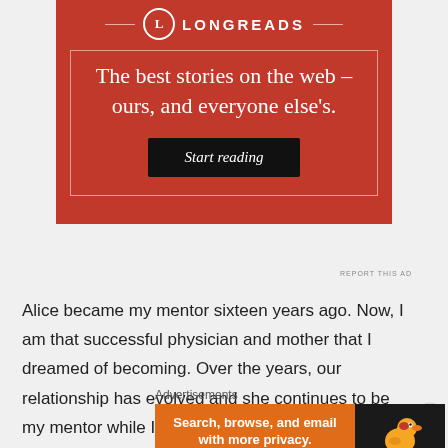[Figure (other): Longreads advertisement with red background. Logo with circle L and LONGREADS text. Tagline: 'The best stories on the web – ours, and everyone else's.' Black 'Start reading' button.]
REPORT THIS AD
Alice became my mentor sixteen years ago. Now, I am that successful physician and mother that I dreamed of becoming. Over the years, our relationship has evolved and she continues to be my mentor while I mentor pre-medical students who are working towards achieving their dreams. For teens who make choices that
Advertisements
[Figure (other): DuckDuckGo advertisement. Left orange section: 'Search, browse, and email with more privacy.' with red badge 'All in One Free App'. Right dark section: DuckDuckGo duck logo and brand name.]